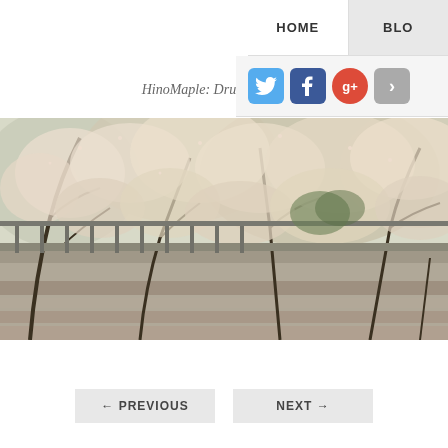HOME  BLO
HinoMaple: Dru's Misadventures
[Figure (photo): Cherry blossom trees in full bloom with stone wall and walkway visible, taken outdoors in Japan]
← PREVIOUS   NEXT →